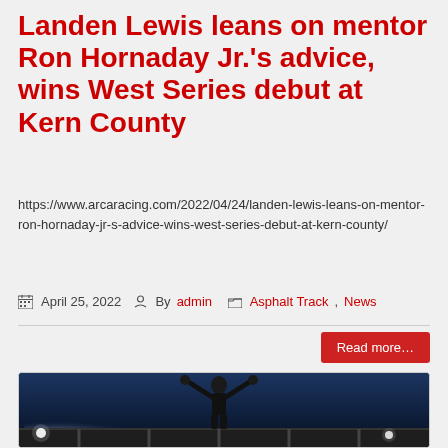Landen Lewis leans on mentor Ron Hornaday Jr.'s advice, wins West Series debut at Kern County
https://www.arcaracing.com/2022/04/24/landen-lewis-leans-on-mentor-ron-hornaday-jr-s-advice-wins-west-series-debut-at-kern-county/
April 25, 2022  By admin  Asphalt Track, News
Read more...
[Figure (photo): A race driver in black suit and helmet with arms raised in victory celebration, standing on a scaffold/podium at night under stadium lights against a dark blue sky.]